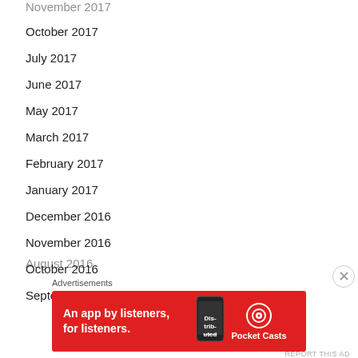November 2017
October 2017
July 2017
June 2017
May 2017
March 2017
February 2017
January 2017
December 2016
November 2016
October 2016
September 2016
August 2016
Advertisements
[Figure (infographic): Pocket Casts advertisement banner: red background with text 'An app by listeners, for listeners.' and Pocket Casts logo on the right, with a phone image in the middle.]